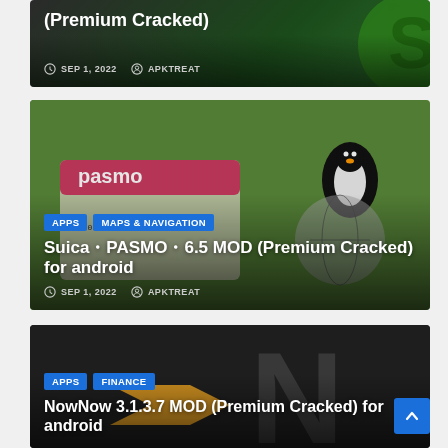[Figure (screenshot): Partial card top showing dark green background with white bold text '(Premium Cracked)' and metadata SEP 1, 2022 APKTREAT]
(Premium Cracked)
SEP 1, 2022   APKTREAT
[Figure (screenshot): App article card with blurred PASMO card imagery and penguin. Badges: APPS, MAPS & NAVIGATION. Title: Suica PASMO 6.5 MOD (Premium Cracked) for android. Date: SEP 1, 2022, Author: APKTREAT]
APPS
MAPS & NAVIGATION
SuicaスPASMOス6.5 MOD (Premium Cracked) for android
SEP 1, 2022   APKTREAT
[Figure (screenshot): App article card with dark background and large N letter logo. Badges: APPS, FINANCE. Title: NowNow 3.1.3.7 MOD (Premium Cracked) for android]
APPS
FINANCE
NowNow 3.1.3.7 MOD (Premium Cracked) for android